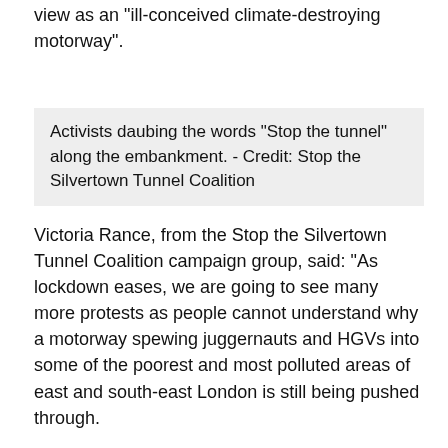view as an "ill-conceived climate-destroying motorway".
Activists daubing the words "Stop the tunnel" along the embankment. - Credit: Stop the Silvertown Tunnel Coalition
Victoria Rance, from the Stop the Silvertown Tunnel Coalition campaign group, said: "As lockdown eases, we are going to see many more protests as people cannot understand why a motorway spewing juggernauts and HGVs into some of the poorest and most polluted areas of east and south-east London is still being pushed through.
"This is a project totally out of line with the current climate emergency," she added.
TfL says the scheme will reduce congestion at the Blackwall Tunnel, improve journey times, boost jobs, cut pollution along some of the capital's busiest